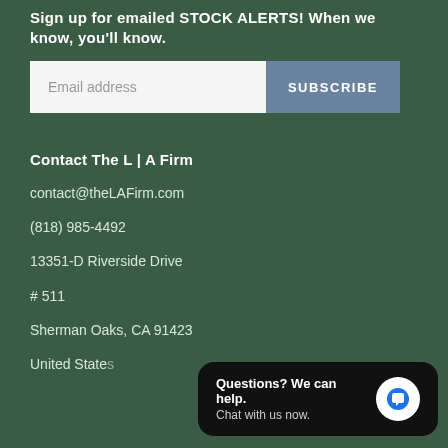Sign up for emailed STOCK ALERTS! When we know, you'll know.
Email address  SUBSCRIBE
Contact The L | A Firm
contact@theLAFirm.com
(818) 985-4492
13351-D Riverside Drive
# 511
Sherman Oaks, CA 91423
United States
Questions? We can help. Chat with us now.